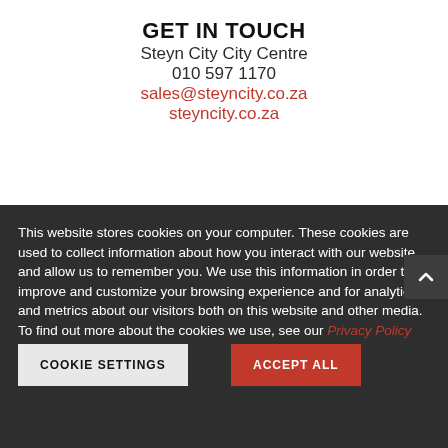GET IN TOUCH
Steyn City City Centre
010 597 1170
sales@steyncity.co.za
steyncity.co.za
This website stores cookies on your computer. These cookies are used to collect information about how you interact with our website and allow us to remember you. We use this information in order to improve and customize your browsing experience and for analytics and metrics about our visitors both on this website and other media. To find out more about the cookies we use, see our Privacy Policy
COOKIE SETTINGS
ACCEPT ALL